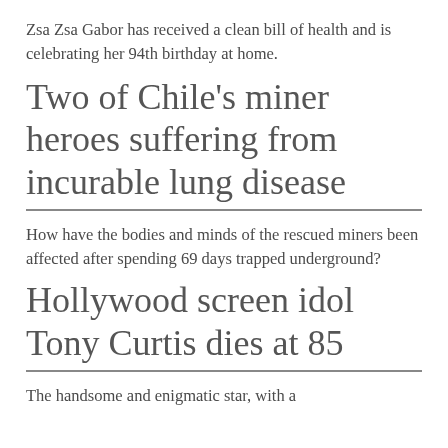Zsa Zsa Gabor has received a clean bill of health and is celebrating her 94th birthday at home.
Two of Chile's miner heroes suffering from incurable lung disease
How have the bodies and minds of the rescued miners been affected after spending 69 days trapped underground?
Hollywood screen idol Tony Curtis dies at 85
The handsome and enigmatic star, with a